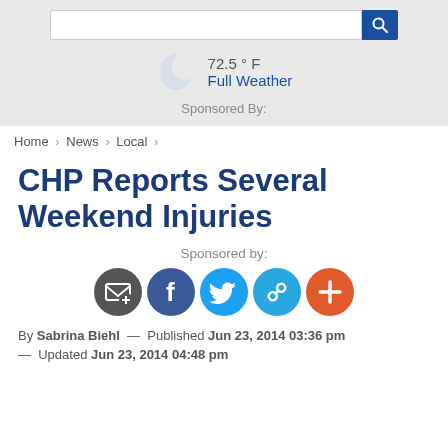72.5 ° F  Full Weather  Sponsored By:
Home > News > Local >
CHP Reports Several Weekend Injuries
Sponsored by:
[Figure (other): Social sharing icons: email/newsletter, Facebook, Twitter, link/copy, add/plus buttons]
By Sabrina Biehl — Published Jun 23, 2014 03:36 pm
— Updated Jun 23, 2014 04:48 pm